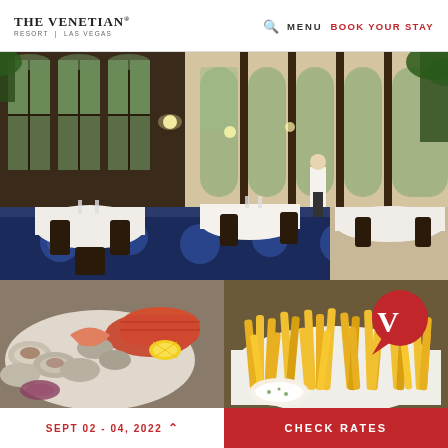THE VENETIAN RESORT | LAS VEGAS   🔍 MENU   BOOK YOUR STAY
[Figure (photo): Elegant restaurant dining room interior with tall arched windows, white tablecloth-covered tables, dark wooden chairs, and decorative tiled floor. A waiter in white is visible attending a table.]
[Figure (photo): Close-up photo of seafood platter including oysters, lobster claws, clams, and lemon on a plate with red onion.]
[Figure (photo): Plate of golden french fries with a red speech-bubble logo featuring a white letter V in the upper right corner.]
SEPT 02 - 04, 2022
CHECK RATES